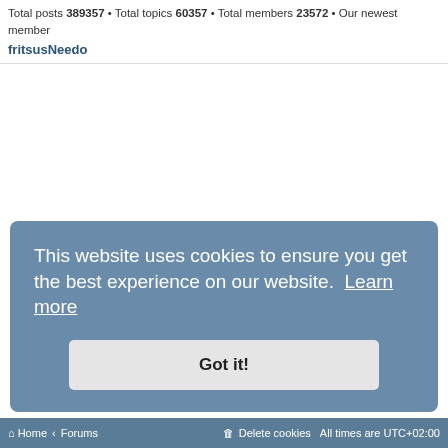Total posts 389357 • Total topics 60357 • Total members 23572 • Our newest member fritsusNeedo
This website uses cookies to ensure you get the best experience on our website. Learn more
Got it!
Home < Forums   Delete cookies   All times are UTC+02:00